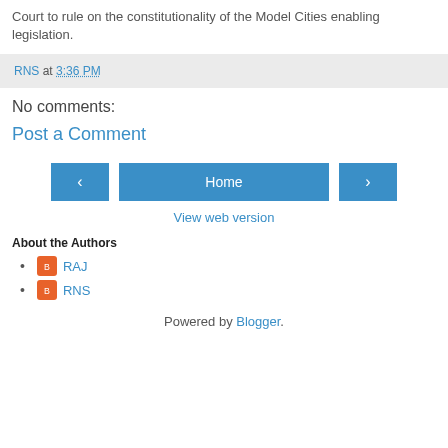Court to rule on the constitutionality of the Model Cities enabling legislation.
RNS at 3:36 PM
No comments:
Post a Comment
‹   Home   ›
View web version
About the Authors
RAJ
RNS
Powered by Blogger.